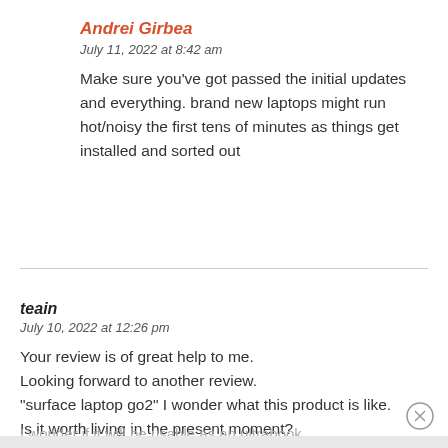Andrei Girbea
July 11, 2022 at 8:42 am
Make sure you've got passed the initial updates and everything. brand new laptops might run hot/noisy the first tens of minutes as things get installed and sorted out
teain
July 10, 2022 at 12:26 pm
Your review is of great help to me.
Looking forward to another review.
"surface laptop go2" I wonder what this product is like.
Is it worth living in the present moment?
I wonder if it will be usable as an ultrabook.